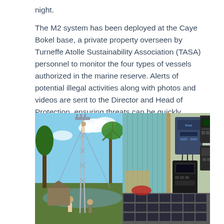night.
The M2 system has been deployed at the Caye Bokel base, a private property overseen by Turneffe Atolle Sustainability Association (TASA) personnel to monitor the four types of vessels authorized in the marine reserve. Alerts of potential illegal activities along with photos and videos are sent to the Director and Head of Protection, ensuring threats can be quickly evaluated and ranger teams can respond quickly.
[Figure (photo): Two photos side by side. Left: A person climbing an antenna/communications tower outdoors with palm trees and blue sky. Right: Indoor equipment room showing batteries on the floor and radio/communication equipment mounted on the wall.]